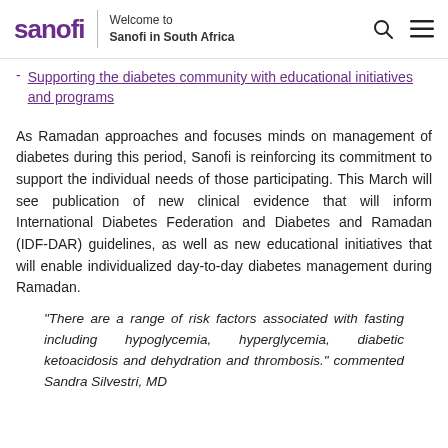sanofi | Welcome to Sanofi in South Africa
Supporting the diabetes community with educational initiatives and programs
As Ramadan approaches and focuses minds on management of diabetes during this period, Sanofi is reinforcing its commitment to support the individual needs of those participating. This March will see publication of new clinical evidence that will inform International Diabetes Federation and Diabetes and Ramadan (IDF-DAR) guidelines, as well as new educational initiatives that will enable individualized day-to-day diabetes management during Ramadan.
“There are a range of risk factors associated with fasting including hypoglycemia, hyperglycemia, diabetic ketoacidosis and dehydration and thrombosis.” commented Sandra Silvestri, MD